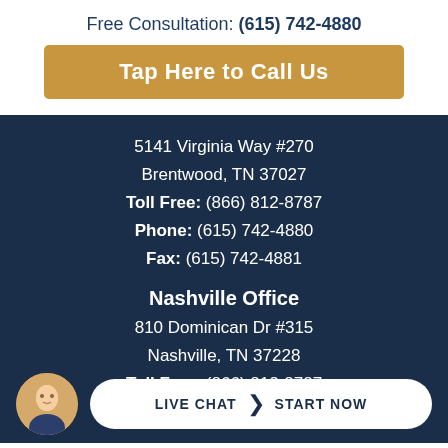Free Consultation: (615) 742-4880
Tap Here to Call Us
5141 Virginia Way #270
Brentwood, TN 37027
Toll Free: (866) 812-8787
Phone: (615) 742-4880
Fax: (615) 742-4881
Nashville Office
810 Dominican Dr #315
Nashville, TN 37228
Toll Free: (866) 812-8787
Phone: (615) 669-3993
LIVE CHAT  START NOW